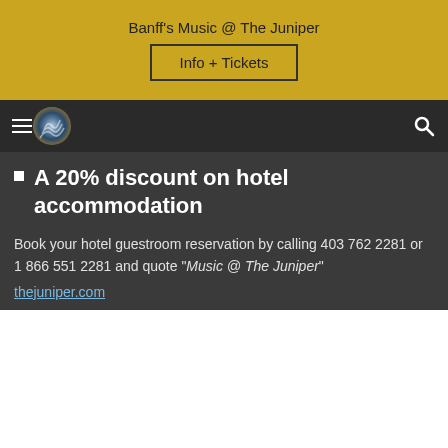Banff's Music @ The Juniper
Info + Tickets
[Figure (logo): Navigation bar with hamburger menu icon, circular logo, and search icon on dark background]
A 20% discount on hotel accommodation
Book your hotel guestroom reservation by calling 403 762 2281 or 1 866 551 2281 and quote "Music @ The Juniper"
thejuniper.com